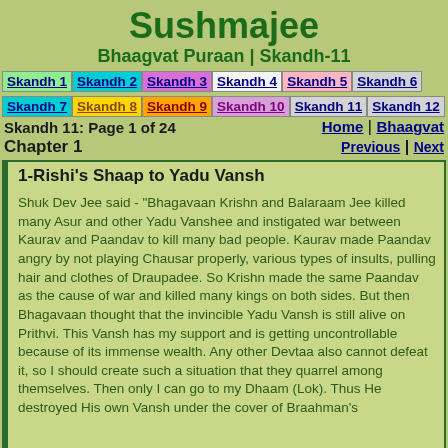Sushmajee
Bhaagvat Puraan | Skandh-11
Skandh 1 Skandh 2 Skandh 3 Skandh 4 Skandh 5 Skandh 6
Skandh 7 Skandh 8 Skandh 9 Skandh 10 Skandh 11 Skandh 12
Skandh 11: Page 1 of 24    Home | Bhaagvat
Chapter 1    Previous | Next
1-Rishi's Shaap to Yadu Vansh
Shuk Dev Jee said - "Bhagavaan Krishn and Balaraam Jee killed many Asur and other Yadu Vanshee and instigated war between Kaurav and Paandav to kill many bad people. Kaurav made Paandav angry by not playing Chausar properly, various types of insults, pulling hair and clothes of Draupadee. So Krishn made the same Paandav as the cause of war and killed many kings on both sides. But then Bhagavaan thought that the invincible Yadu Vansh is still alive on Prithvi. This Vansh has my support and is getting uncontrollable because of its immense wealth. Any other Devtaa also cannot defeat it, so I should create such a situation that they quarrel among themselves. Then only I can go to my Dhaam (Lok). Thus He destroyed His own Vansh under the cover of Braahman's